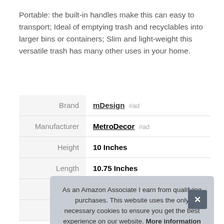Portable: the built-in handles make this can easy to transport; Ideal of emptying trash and recyclables into larger bins or containers; Slim and light-weight this versatile trash has many other uses in your home.
|  |  |
| --- | --- |
| Brand | mDesign #ad |
| Manufacturer | MetroDecor #ad |
| Height | 10 Inches |
| Length | 10.75 Inches |
| Weight | 0.73 Pounds |
| P |  |
As an Amazon Associate I earn from qualifying purchases. This website uses the only necessary cookies to ensure you get the best experience on our website. More information